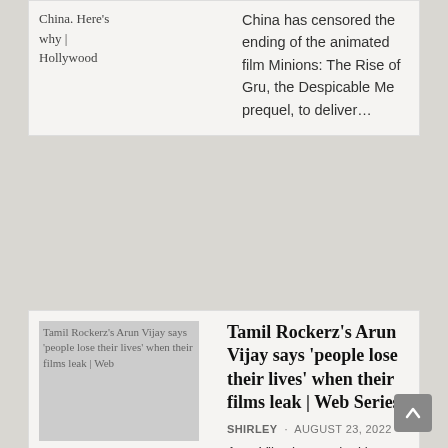China. Here's why | Hollywood
China has censored the ending of the animated film Minions: The Rise of Gru, the Despicable Me prequel, to deliver…
Tamil Rockerz's Arun Vijay says 'people lose their lives' when their films leak | Web Series
SHIRLEY · AUGUST 23, 2022
Arun Vijay has worked in a number of films in a decade-long career in Tamil cinema. So,